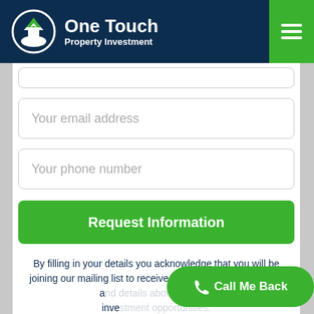[Figure (logo): One Touch Property Investment logo — circular icon with house/hand graphic on dark navy background, with hamburger menu button on green background at right]
Your email address
Your phone number
Request Information
By filling in your details you acknowledge that you will be joining our mailing list to receive property investment news and details about property investment opportunities.
Call Me Back